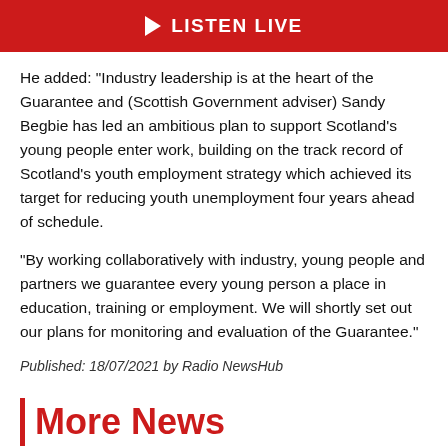LISTEN LIVE
He added: "Industry leadership is at the heart of the Guarantee and (Scottish Government adviser) Sandy Begbie has led an ambitious plan to support Scotland's young people enter work, building on the track record of Scotland's youth employment strategy which achieved its target for reducing youth unemployment four years ahead of schedule.
"By working collaboratively with industry, young people and partners we guarantee every young person a place in education, training or employment. We will shortly set out our plans for monitoring and evaluation of the Guarantee."
Published: 18/07/2021 by Radio NewsHub
More News